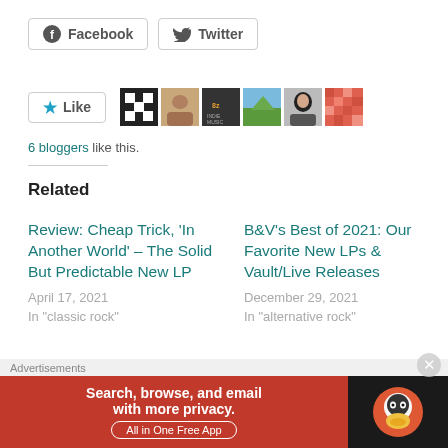[Figure (screenshot): Social share buttons: Facebook and Twitter]
[Figure (screenshot): Like button with star icon and 6 blogger avatars]
6 bloggers like this.
Related
Review: Cheap Trick, ‘In Another World’ – The Solid But Predictable New LP
April 17, 2021
In "classic rock"
B&V’s Best of 2021: Our Favorite New LPs & Vault/Live Releases
December 29, 2021
In "alternative rock"
Cheap Trick: Incendiary
[Figure (screenshot): DuckDuckGo advertisement banner: Search, browse, and email with more privacy. All in One Free App.]